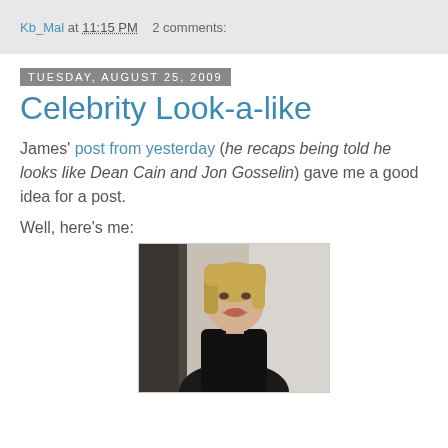Kb_Mal at 11:15 PM   2 comments:
Tuesday, August 25, 2009
Celebrity Look-a-like
James' post from yesterday (he recaps being told he looks like Dean Cain and Jon Gosselin) gave me a good idea for a post.
Well, here's me:
[Figure (photo): A woman with short blonde hair wearing a black top, photographed indoors]